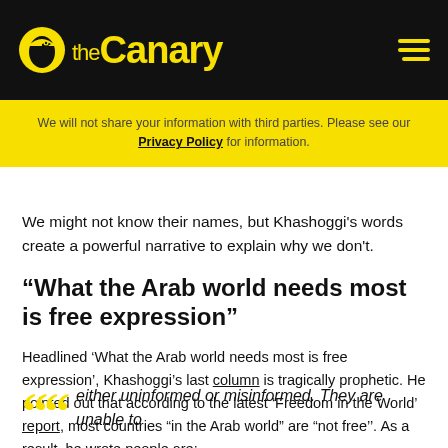the Canary
We will not share your information with third parties. Please see our Privacy Policy for information.
We might not know their names, but Khashoggi's words create a powerful narrative to explain why we don't.
“What the Arab world needs most is free expression”
Headlined ‘What the Arab world needs most is free expression’, Khashoggi’s last column is tragically prophetic. He pointed out that according to the latest ‘Freedom in the World’ report, most countries “in the Arab world” are “not free’’. As a result, he wrote people are:
either uninformed or misinformed. They are unable to